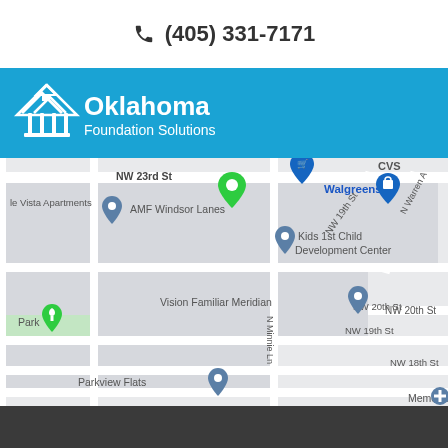(405) 331-7171
[Figure (logo): Oklahoma Foundation Solutions logo with white house/columns icon and white text on blue background]
[Figure (map): Google Maps screenshot showing area around NW 23rd St, Oklahoma City. Landmarks include AMF Windsor Lanes, Kids 1st Child Development Center, Vision Familiar Meridian, Walgreens, CVS, Parkview Flats, Park. Streets include NW 23rd St, NW 22nd St, NW 20th St, NW 19th St, NW 18th St, N Minnie Ln, NW 19th St, N Warren Ave. Green map pin marks business location.]